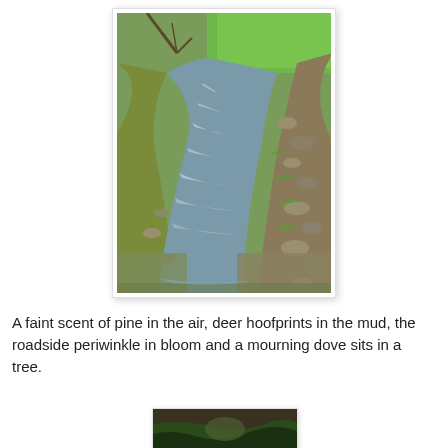[Figure (photo): A rural stream or creek running between grassy, muddy, rocky banks. Green grass visible on both sides and in the background, with bare trees and shrubs. The stream has rocks and flowing water visible. Photo taken in spring or early spring.]
A faint scent of pine in the air, deer hoofprints in the mud, the roadside periwinkle in bloom and a mourning dove sits in a tree.
[Figure (photo): Partial view of a second photograph at the bottom of the page, content not fully visible.]